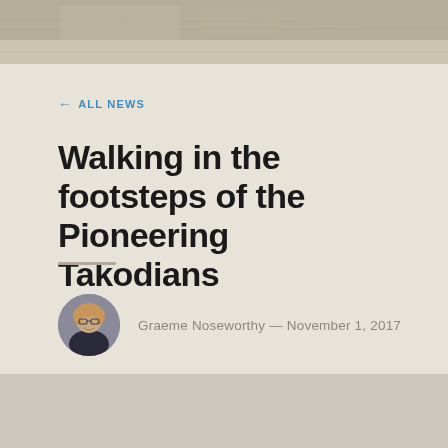[Figure (photo): Top decorative image strip showing a faded vintage map or architectural detail in muted beige and gray tones]
← ALL NEWS
Walking in the footsteps of the Pioneering Takodians
Graeme Noseworthy — November 1, 2017